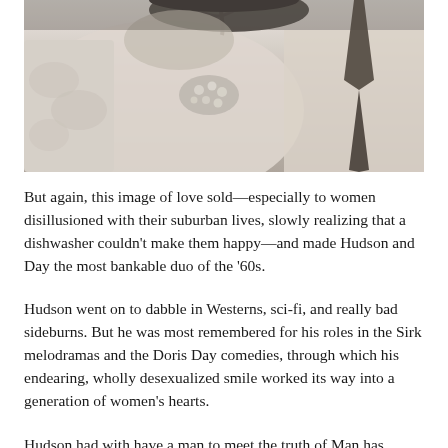[Figure (photo): Black and white close-up wedding photo showing a bride in lace dress with pearl brooch and sash bow, and a groom in white shirt with dark tie, their torsos close together.]
But again, this image of love sold—especially to women disillusioned with their suburban lives, slowly realizing that a dishwasher couldn't make them happy—and made Hudson and Day the most bankable duo of the '60s.
Hudson went on to dabble in Westerns, sci-fi, and really bad sideburns. But he was most remembered for his roles in the Sirk melodramas and the Doris Day comedies, through which his endearing, wholly desexualized smile worked its way into a generation of women's hearts.
Hudson had with have a man to meet the truth of Man has